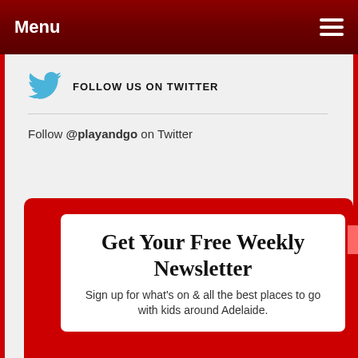Menu
FOLLOW US ON TWITTER
Follow @playandgo on Twitter
Get Your Free Weekly Newsletter
Sign up for what's on & all the best places to go with kids around Adelaide.